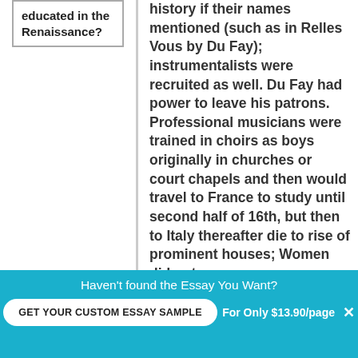educated in the Renaissance?
history if their names mentioned (such as in Relles Vous by Du Fay); instrumentalists were recruited as well. Du Fay had power to leave his patrons. Professional musicians were trained in choirs as boys originally in churches or court chapels and then would travel to France to study until second half of 16th, but then to Italy thereafter die to rise of prominent houses; Women did not
Haven't found the Essay You Want?
GET YOUR CUSTOM ESSAY SAMPLE
For Only $13.90/page